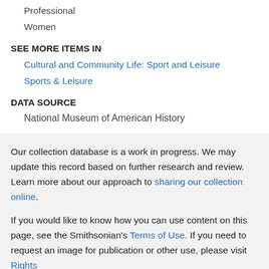Professional
Women
SEE MORE ITEMS IN
Cultural and Community Life: Sport and Leisure
Sports & Leisure
DATA SOURCE
National Museum of American History
Our collection database is a work in progress. We may update this record based on further research and review. Learn more about our approach to sharing our collection online.
If you would like to know how you can use content on this page, see the Smithsonian's Terms of Use. If you need to request an image for publication or other use, please visit Rights